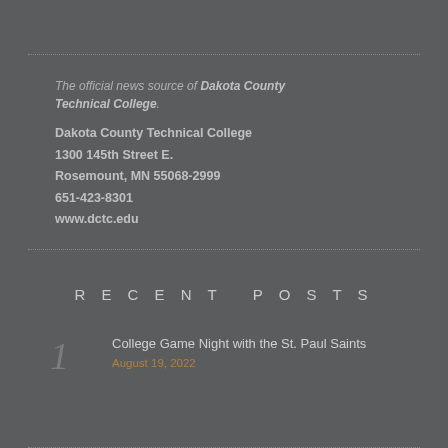The official news source of Dakota County Technical College.
Dakota County Technical College
1300 145th Street E.
Rosemount, MN 55068-2999
651-423-8301
www.dctc.edu
RECENT POSTS
1
College Game Night with the St. Paul Saints
August 19, 2022